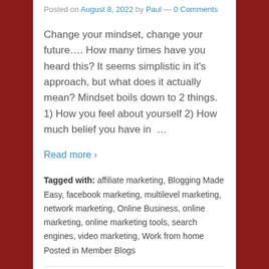Posted on August 8, 2022 by Paul — 0 Comments
Change your mindset, change your future…. How many times have you heard this? It seems simplistic in it's approach, but what does it actually mean? Mindset boils down to 2 things. 1) How you feel about yourself 2) How much belief you have in  …
Read more ›
Tagged with: affiliate marketing, Blogging Made Easy, facebook marketing, multilevel marketing, network marketing, Online Business, online marketing, online marketing tools, search engines, video marketing, Work from home
Posted in Member Blogs
SOLVED! Your Biggest Problem In Email Marketing